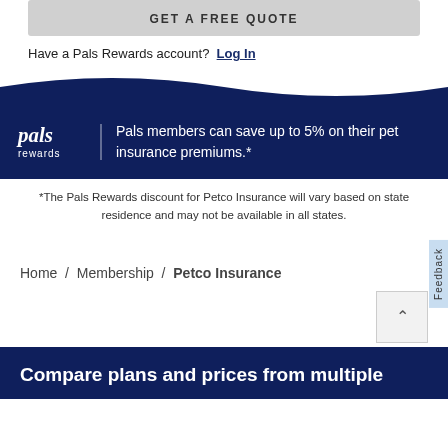GET A FREE QUOTE
Have a Pals Rewards account? Log In
[Figure (other): Pals Rewards logo and navy banner with text: Pals members can save up to 5% on their pet insurance premiums.*]
*The Pals Rewards discount for Petco Insurance will vary based on state residence and may not be available in all states.
Home / Membership / Petco Insurance
Compare plans and prices from multiple